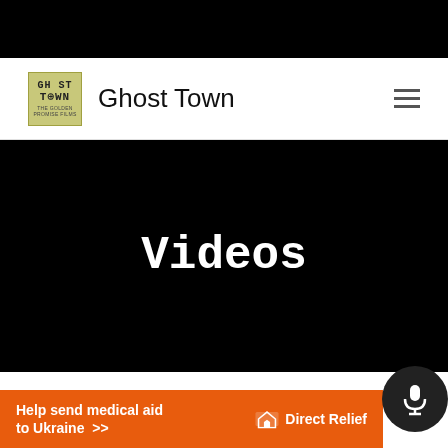Ghost Town
Videos
[Figure (other): Direct Relief advertisement banner – orange background with white bold text 'Help send medical aid to Ukraine >>' and Direct Relief logo]
[Figure (other): Circular microphone icon button, dark background]